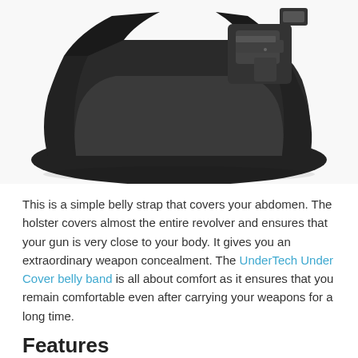[Figure (photo): A black belly band holster with a gun/revolver inserted, shown laid flat against a white background. The holster is a wide elastic band with a built-in pocket holding a compact black pistol.]
This is a simple belly strap that covers your abdomen. The holster covers almost the entire revolver and ensures that your gun is very close to your body. It gives you an extraordinary weapon concealment. The UnderTech Under Cover belly band is all about comfort as it ensures that you remain comfortable even after carrying your weapons for a long time.
Features
This belly band holster for women has a six-inch pocket for extra storage of a flashlight, spare